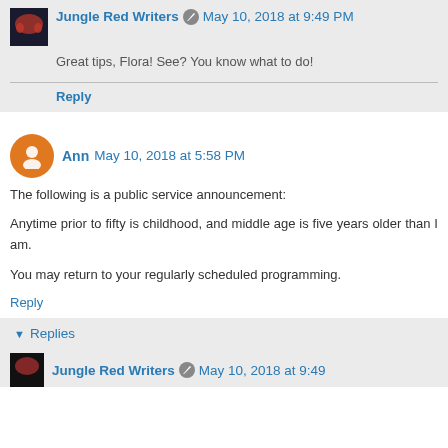Jungle Red Writers  May 10, 2018 at 9:49 PM
Great tips, Flora! See? You know what to do!
Reply
Ann  May 10, 2018 at 5:58 PM
The following is a public service announcement:
Anytime prior to fifty is childhood, and middle age is five years older than I am.
You may return to your regularly scheduled programming.
Reply
Replies
Jungle Red Writers  May 10, 2018 at 9:49